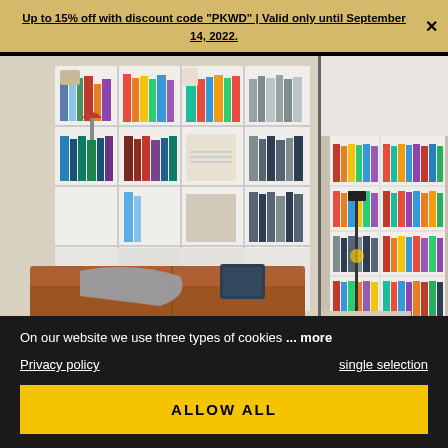Up to 15% off with discount code "PKWD" | Valid only until September 14, 2022.
[Figure (photo): Two photos side by side: left shows a modern living room with a large white shelving unit filled with colorful books and a brown leather sofa with a gray blanket; right shows a tall floor-to-ceiling bookshelf filled with books next to a reading lamp.]
On our website we use three types of cookies ... more
Privacy policy
single selection
ALLOW ALL